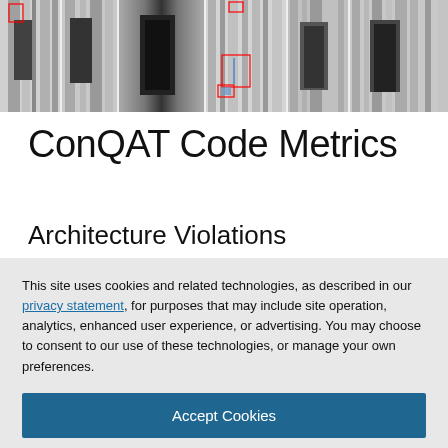[Figure (photo): A horizontal strip of grayscale architectural/building interior images showing columns and doorways, with some red bounding boxes overlaid indicating detected regions]
ConQAT Code Metrics
Architecture Violations
This site uses cookies and related technologies, as described in our privacy statement, for purposes that may include site operation, analytics, enhanced user experience, or advertising. You may choose to consent to our use of these technologies, or manage your own preferences.
Accept Cookies
More Information
Privacy Policy | Powered by: TrustArc
same code structures.